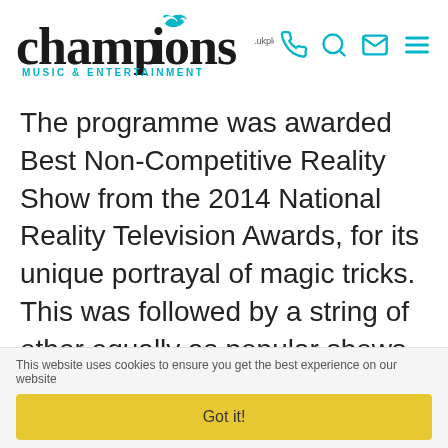[Figure (logo): Champions Music & Entertainment logo with teal bird/flame graphic and teal subtitle text]
The programme was awarded Best Non-Competitive Reality Show from the 2014 National Reality Television Awards, for its unique portrayal of magic tricks. This was followed by a string of other equally as popular shows, including Ben Hart's Life Hacks, Ben Hart's Life
This website uses cookies to ensure you get the best experience on our website
Got it!